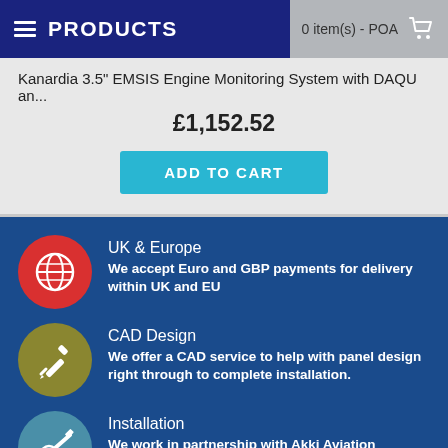PRODUCTS | 0 item(s) - POA
Kanardia 3.5" EMSIS Engine Monitoring System with DAQU an...
£1,152.52
ADD TO CART
UK & Europe
We accept Euro and GBP payments for delivery within UK and EU
CAD Design
We offer a CAD service to help with panel design right through to complete installation.
Installation
We work in partnership with Akki Aviation Services for Part-145 Avionics Installation.
Experience